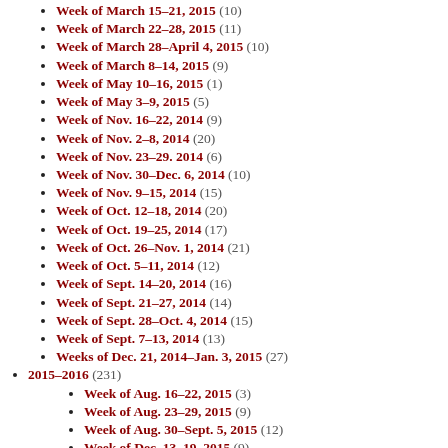Week of March 15-21, 2015 (10)
Week of March 22-28, 2015 (11)
Week of March 28-April 4, 2015 (10)
Week of March 8-14, 2015 (9)
Week of May 10-16, 2015 (1)
Week of May 3-9, 2015 (5)
Week of Nov. 16-22, 2014 (9)
Week of Nov. 2-8, 2014 (20)
Week of Nov. 23-29. 2014 (6)
Week of Nov. 30-Dec. 6, 2014 (10)
Week of Nov. 9-15, 2014 (15)
Week of Oct. 12-18, 2014 (20)
Week of Oct. 19-25, 2014 (17)
Week of Oct. 26-Nov. 1, 2014 (21)
Week of Oct. 5-11, 2014 (12)
Week of Sept. 14-20, 2014 (16)
Week of Sept. 21-27, 2014 (14)
Week of Sept. 28-Oct. 4, 2014 (15)
Week of Sept. 7-13, 2014 (13)
Weeks of Dec. 21, 2014-Jan. 3, 2015 (27)
2015-2016 (231)
Week of Aug. 16-22, 2015 (3)
Week of Aug. 23-29, 2015 (9)
Week of Aug. 30-Sept. 5, 2015 (12)
Week of Dec. 13-19, 2015 (9)
Week of Dec. 6-12, 2015 (?)